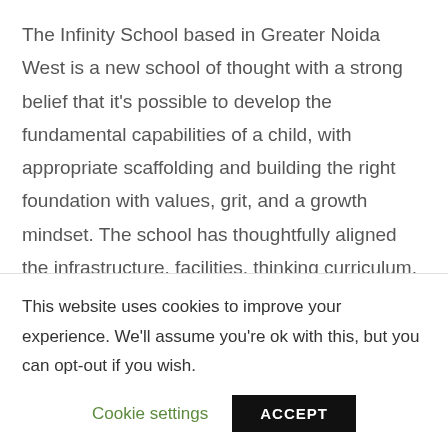The Infinity School based in Greater Noida West is a new school of thought with a strong belief that it's possible to develop the fundamental capabilities of a child, with appropriate scaffolding and building the right foundation with values, grit, and a growth mindset. The school has thoughtfully aligned the infrastructure, facilities, thinking curriculum, faculty and co-curricular activities with the motto 'Learning to Learn'. The
This website uses cookies to improve your experience. We'll assume you're ok with this, but you can opt-out if you wish.
Cookie settings
ACCEPT